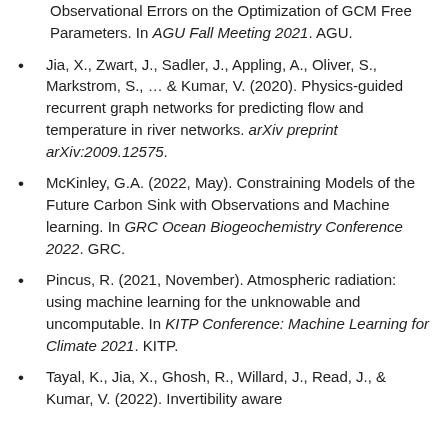Observational Errors on the Optimization of GCM Free Parameters. In AGU Fall Meeting 2021. AGU.
Jia, X., Zwart, J., Sadler, J., Appling, A., Oliver, S., Markstrom, S., … & Kumar, V. (2020). Physics-guided recurrent graph networks for predicting flow and temperature in river networks. arXiv preprint arXiv:2009.12575.
McKinley, G.A. (2022, May). Constraining Models of the Future Carbon Sink with Observations and Machine learning. In GRC Ocean Biogeochemistry Conference 2022. GRC.
Pincus, R. (2021, November). Atmospheric radiation: using machine learning for the unknowable and uncomputable. In KITP Conference: Machine Learning for Climate 2021. KITP.
Tayal, K., Jia, X., Ghosh, R., Willard, J., Read, J., & Kumar, V. (2022). Invertibility aware